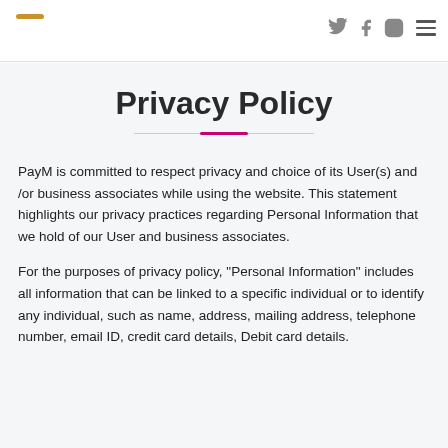PayM logo and navigation icons (Twitter, Facebook, Instagram, Menu)
Privacy Policy
PayM is committed to respect privacy and choice of its User(s) and /or business associates while using the website. This statement highlights our privacy practices regarding Personal Information that we hold of our User and business associates.
For the purposes of privacy policy, "Personal Information" includes all information that can be linked to a specific individual or to identify any individual, such as name, address, mailing address, telephone number, email ID, credit card details, Debit card details.